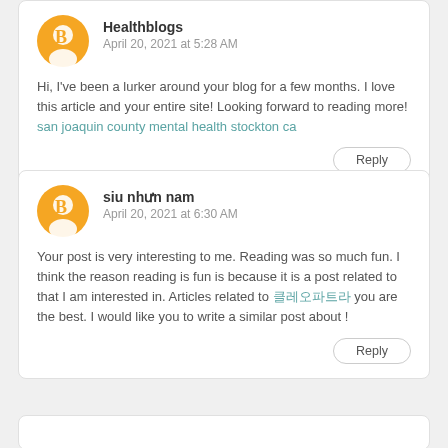Healthblogs
April 20, 2021 at 5:28 AM
Hi, I've been a lurker around your blog for a few months. I love this article and your entire site! Looking forward to reading more! san joaquin county mental health stockton ca
Reply
siu như̛n nam
April 20, 2021 at 6:30 AM
Your post is very interesting to me. Reading was so much fun. I think the reason reading is fun is because it is a post related to that I am interested in. Articles related to 카지노사이트 you are the best. I would like you to write a similar post about !
Reply